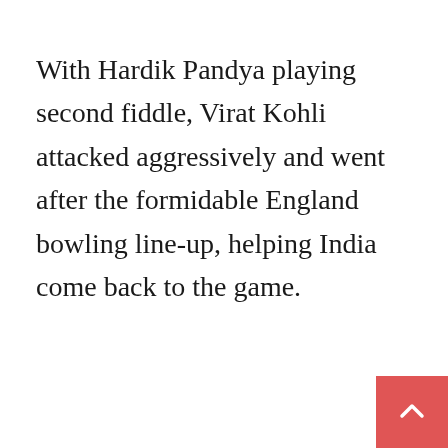With Hardik Pandya playing second fiddle, Virat Kohli attacked aggressively and went after the formidable England bowling line-up, helping India come back to the game.